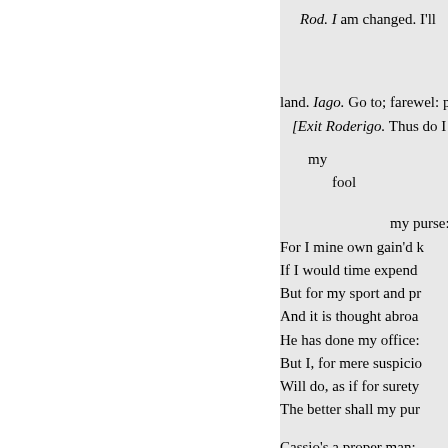Rod. I am changed. I'll
land. Iago. Go to; farewel: p
[Exit Roderigo. Thus do I
    my
        fool
                    my purse:
For I mine own gain'd k
If I would time expend
But for my sport and pr
And it is thought abroa
He has done my office:
But I, for mere suspicio
Will do, as if for surety
The better shall my pur

Cassio's a proper man:
To get his place, and to
A double knavery,-How
After some time, to abu
That she has found